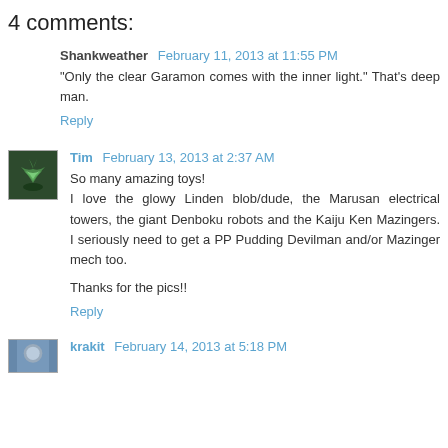4 comments:
Shankweather  February 11, 2013 at 11:55 PM
"Only the clear Garamon comes with the inner light." That's deep man.
Reply
Tim  February 13, 2013 at 2:37 AM
So many amazing toys!
I love the glowy Linden blob/dude, the Marusan electrical towers, the giant Denboku robots and the Kaiju Ken Mazingers. I seriously need to get a PP Pudding Devilman and/or Mazinger mech too.

Thanks for the pics!!
Reply
krakit  February 14, 2013 at 5:18 PM